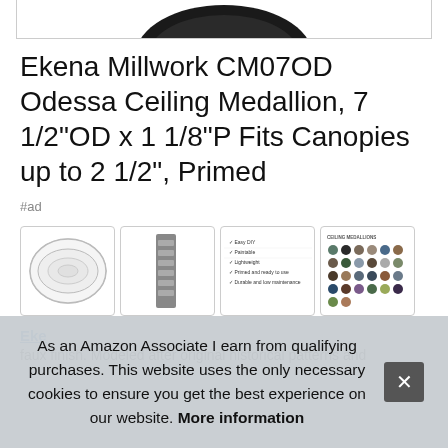[Figure (photo): Bottom edge of a dark circular ceiling medallion product image, cropped at top]
Ekena Millwork CM07OD Odessa Ceiling Medallion, 7 1/2"OD x 1 1/8"P Fits Canopies up to 2 1/2", Primed
#ad
[Figure (photo): Thumbnail 1: front view of white ornate ceiling medallion]
[Figure (photo): Thumbnail 2: side profile view of ceiling medallion]
[Figure (photo): Thumbnail 3: product features infographic]
[Figure (photo): Thumbnail 4: color options chart for ceiling medallions]
Ekena
faux finish. Modeled after original historical patterns and